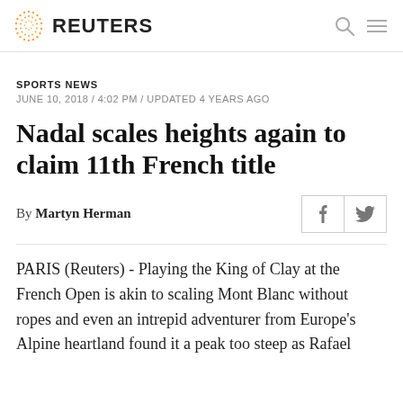REUTERS
SPORTS NEWS
JUNE 10, 2018 / 4:02 PM / UPDATED 4 YEARS AGO
Nadal scales heights again to claim 11th French title
By Martyn Herman
PARIS (Reuters) - Playing the King of Clay at the French Open is akin to scaling Mont Blanc without ropes and even an intrepid adventurer from Europe's Alpine heartland found it a peak too steep as Rafael